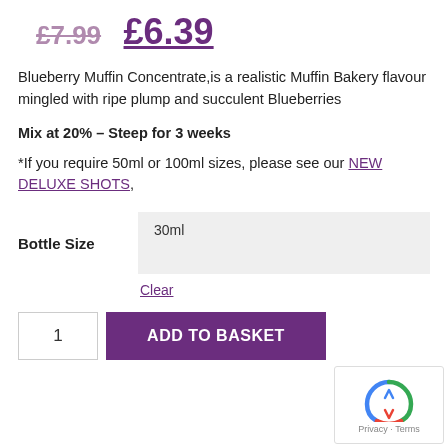£7.99
£6.39
Blueberry Muffin Concentrate,is a realistic Muffin Bakery flavour mingled with ripe plump and succulent Blueberries
Mix at 20% – Steep for 3 weeks
*If you require 50ml or 100ml sizes, please see our NEW DELUXE SHOTS,
| Bottle Size |  |
| --- | --- |
| Bottle Size | 30ml |
Clear
1  ADD TO BASKET